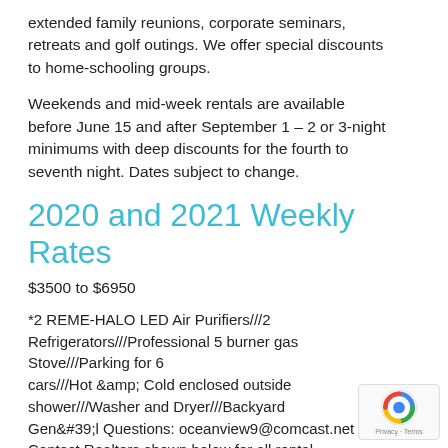extended family reunions, corporate seminars, retreats and golf outings. We offer special discounts to home-schooling groups.
Weekends and mid-week rentals are available before June 15 and after September 1 – 2 or 3-night minimums with deep discounts for the fourth to seventh night. Dates subject to change.
2020 and 2021 Weekly Rates
$3500 to $6950
*2 REME-HALO LED Air Purifiers///2 Refrigerators///Professional 5 burner gas Stove///Parking for 6 cars///Hot &amp; Cold enclosed outside shower///Washer and Dryer///Backyard Gen&#39;l Questions: oceanview9@comcast.net Contact Realtors shown below for all rental